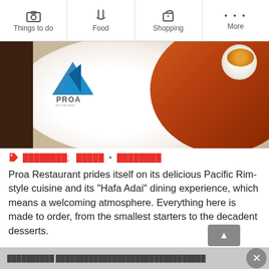Things to do | Food | Shopping | More
[Figure (photo): Hero image showing a white plate with orange/red fried rice and a small bowl, with the Proa Restaurant logo overlaid on the left side]
████████: █████ • ████████
Proa Restaurant prides itself on its delicious Pacific Rim-style cuisine and its "Hafa Adai" dining experience, which means a welcoming atmosphere. Everything here is made to order, from the smallest starters to the decadent desserts.
When you visit this restaurant, you may want to make a reservation beforehand, as it can get quite busy. People tend to be drawn to its delicious seafood and pristine barbecue. There's a kids! me...
██████████ ████████████████████████████████